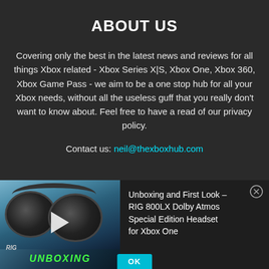ABOUT US
Covering only the best in the latest news and reviews for all things Xbox related - Xbox Series X|S, Xbox One, Xbox 360, Xbox Game Pass - we aim to be a one stop hub for all your Xbox needs, without all the useless guff that you really don't want to know about. Feel free to have a read of our privacy policy.
Contact us: neil@thexboxhub.com
[Figure (screenshot): Video thumbnail showing a RIG gaming headset with 'UNBOXING' text overlay in green letters and a play button icon, dark background]
Unboxing and First Look – RIG 800LX Dolby Atmos Special Edition Headset for Xbox One